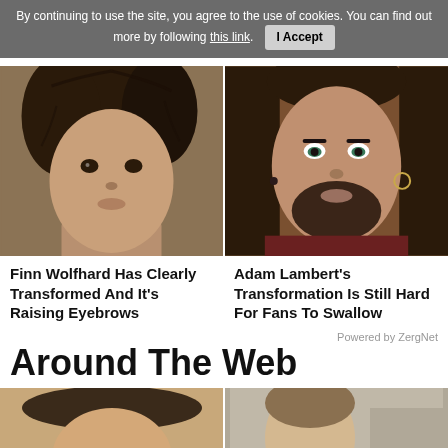By continuing to use the site, you agree to the use of cookies. You can find out more by following this link. I Accept
[Figure (photo): Close-up portrait of Finn Wolfhard, young man with dark curly hair]
[Figure (photo): Close-up portrait of Adam Lambert with long dark hair and makeup]
Finn Wolfhard Has Clearly Transformed And It's Raising Eyebrows
Adam Lambert's Transformation Is Still Hard For Fans To Swallow
Powered by ZergNet
Around The Web
[Figure (photo): Partial face of a person wearing a hat, bottom thumbnails]
[Figure (photo): Partial face of a person, bottom thumbnails]